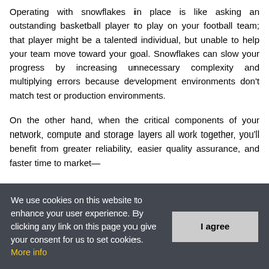Operating with snowflakes in place is like asking an outstanding basketball player to play on your football team; that player might be a talented individual, but unable to help your team move toward your goal. Snowflakes can slow your progress by increasing unnecessary complexity and multiplying errors because development environments don't match test or production environments.
On the other hand, when the critical components of your network, compute and storage layers all work together, you'll benefit from greater reliability, easier quality assurance, and faster time to market—
We use cookies on this website to enhance your user experience. By clicking any link on this page you give your consent for us to set cookies. More info